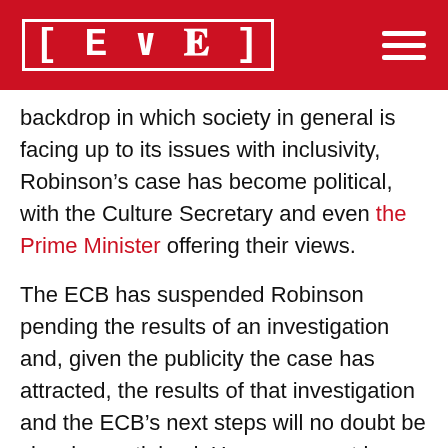[LEVE]
backdrop in which society in general is facing up to its issues with inclusivity, Robinson’s case has become political, with the Culture Secretary and even the Prime Minister offering their views.
The ECB has suspended Robinson pending the results of an investigation and, given the publicity the case has attracted, the results of that investigation and the ECB’s next steps will no doubt be closely scrutinised. However, sport in general is no stranger to disciplining players for historical social media posts, and the ECB would be well-advised to take lessons from how the issue has been dealt with elsewhere.